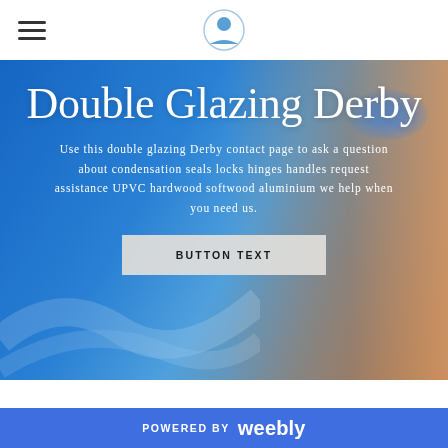Navigation bar with hamburger menu and logo
Double Glazing Derby
Use this double glazing Derby contact page to ask a question about condensation seals locks hinges handles request assistance UPVC hardwood softwood aluminium we help when you need us.
BUTTON TEXT
[Figure (photo): Close-up photo of a smiling woman wearing a headset, with blue eyes, against a blue background]
POWERED BY weebly